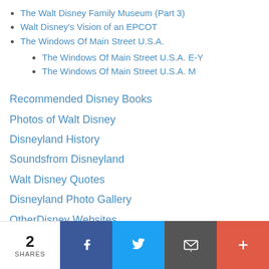The Walt Disney Family Museum (Part 3)
Walt Disney's Vision of an EPCOT
The Windows Of Main Street U.S.A.
The Windows Of Main Street U.S.A. E-Y
The Windows Of Main Street U.S.A. M
Recommended Disney Books
Photos of Walt Disney
Disneyland History
Soundsfrom Disneyland
Walt Disney Quotes
Disneyland Photo Gallery
OtherDisney Websites
Contact JustDisney.com
2 SHARES